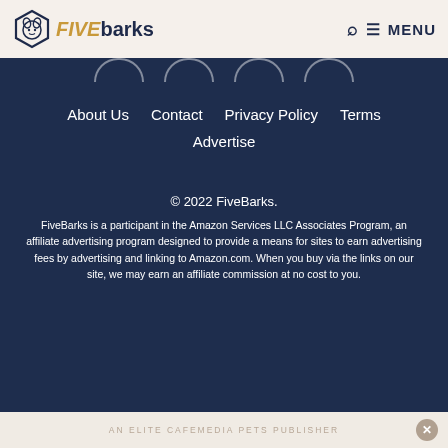FIVEbarks — Search MENU
[Figure (logo): FiveBarks logo with dog head icon in hexagon outline, text FIVE in gold italic, barks in dark navy bold]
About Us    Contact    Privacy Policy    Terms    Advertise
© 2022 FiveBarks.
FiveBarks is a participant in the Amazon Services LLC Associates Program, an affiliate advertising program designed to provide a means for sites to earn advertising fees by advertising and linking to Amazon.com. When you buy via the links on our site, we may earn an affiliate commission at no cost to you.
AN ELITE CAFEMEDIA PETS PUBLISHER